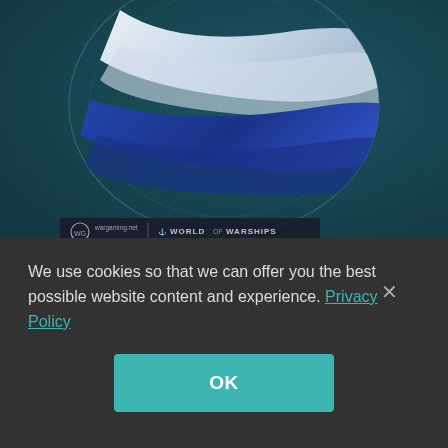[Figure (screenshot): World of Warships promotional image with a blue and white flag/banner on a dark teal background, with Wargaming.net and World of Warships logos at bottom left]
Updated Recruitment Points
Recruitment points have been updated. They will become a more universal resource, which can be earned by participating in a variety of activities and exchanged for precious and unique rewards.
We use cookies so that we can offer you the best possible website content and experience. Privacy Policy
OK